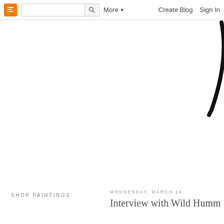Blogger navbar with logo, search box, More, Create Blog, Sign In
[Figure (illustration): Partial decorative curved black brushstroke or script element visible at top-right of page]
SHOP PAINTINGS
WEDNESDAY, MARCH 16
Interview with Wild Humm...